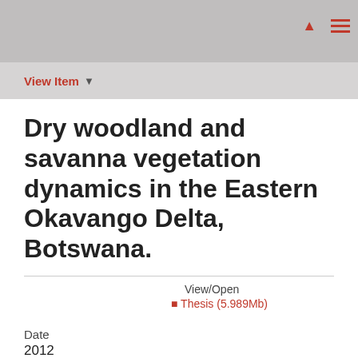View Item ▾
Dry woodland and savanna vegetation dynamics in the Eastern Okavango Delta, Botswana.
View/Open
🔒 Thesis (5.989Mb)
Date
2012
Author
Tedder, Michelle Jennifer.